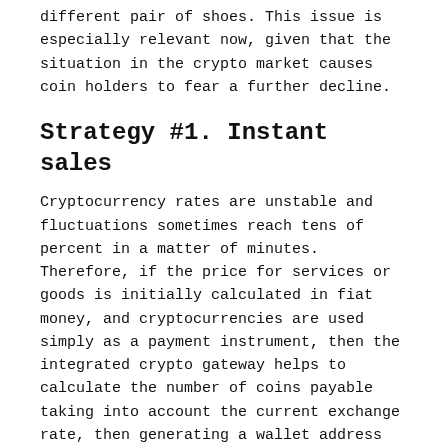different pair of shoes. This issue is especially relevant now, given that the situation in the crypto market causes coin holders to fear a further decline.
Strategy #1. Instant sales
Cryptocurrency rates are unstable and fluctuations sometimes reach tens of percent in a matter of minutes. Therefore, if the price for services or goods is initially calculated in fiat money, and cryptocurrencies are used simply as a payment instrument, then the integrated crypto gateway helps to calculate the number of coins payable taking into account the current exchange rate, then generating a wallet address to which a payer needs to send crypto. The user is given 15 to 30 minutes to pay the bill.
The “instant sale” strategy allows merchants to avoid the risks associated with the high volatility of coins. After all, few people like to sell a service whose price is $100 and get $80 due to the cryptocurrency market crash.